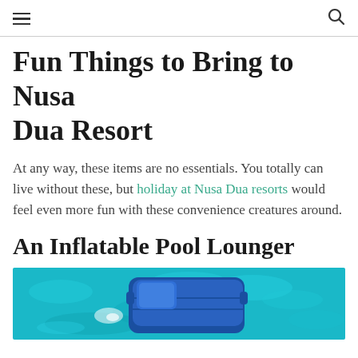≡  🔍
Fun Things to Bring to Nusa Dua Resort
At any way, these items are no essentials. You totally can live without these, but holiday at Nusa Dua resorts would feel even more fun with these convenience creatures around.
An Inflatable Pool Lounger
[Figure (photo): A blue inflatable pool lounger floating in a turquoise pool with light reflections on the water]